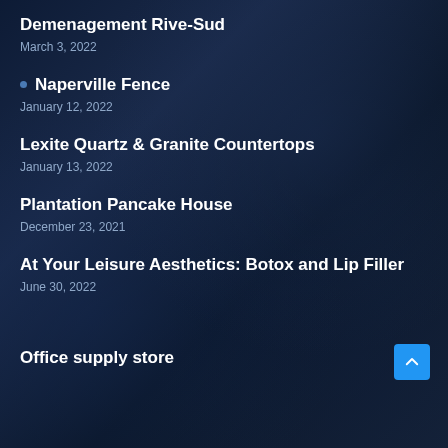Demenagement Rive-Sud
March 3, 2022
Naperville Fence
January 12, 2022
Lexite Quartz & Granite Countertops
January 13, 2022
Plantation Pancake House
December 23, 2021
At Your Leisure Aesthetics: Botox and Lip Filler
June 30, 2022
Office supply store